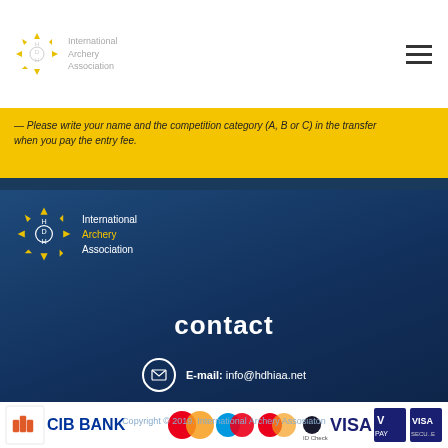[Figure (logo): International Archery Association logo in top white header bar with hamburger menu icon]
— Please write your name and the competition category (A, B or C) in the transfer when you pay the entry fee.
[Figure (logo): International Archery Association logo in dark blue footer section]
contact
E-mail: info@hdhiaa.net
[Figure (other): CIB Bank and card payment logos strip (Mastercard, Maestro, Installments, ID Check, VISA, V PAY, VISA Secure)]
Copyright © 2019. International Archery Assosiaton